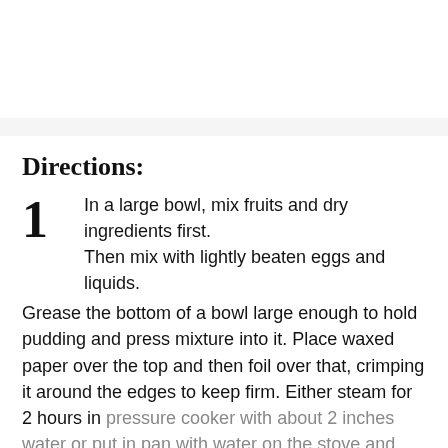Directions:
1 In a large bowl, mix fruits and dry ingredients first. Then mix with lightly beaten eggs and liquids. Grease the bottom of a bowl large enough to hold pudding and press mixture into it. Place waxed paper over the top and then foil over that, crimping it around the edges to keep firm. Either steam for 2 hours in pressure cooker with about 2 inches water or put in pan with water on the stove and steam for 4 hours. Keep checking water in pan to prevent burning. Store well